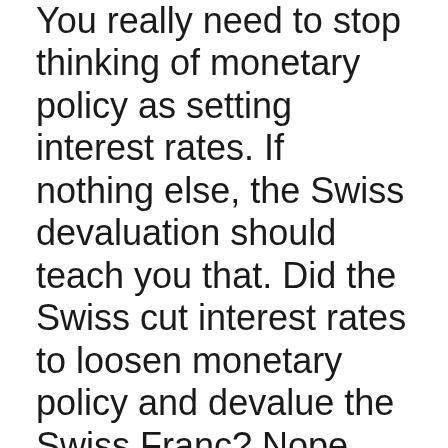You really need to stop thinking of monetary policy as setting interest rates. If nothing else, the Swiss devaluation should teach you that. Did the Swiss cut interest rates to loosen monetary policy and devalue the Swiss Franc? Nope. They just announced a target, and Bingo! That mythical magical confidence fairy did the rest. God only knows how. It doesn't make any sense at all, if the only thing central banks can do is set an overnight rate of interest, and everyone knows monetary policy is tapped out when they hit the